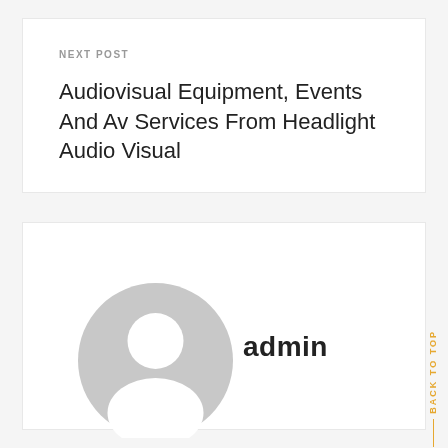NEXT POST
Audiovisual Equipment, Events And Av Services From Headlight Audio Visual
[Figure (illustration): Generic user avatar icon — gray circle with silhouette of a person (head and shoulders)]
admin